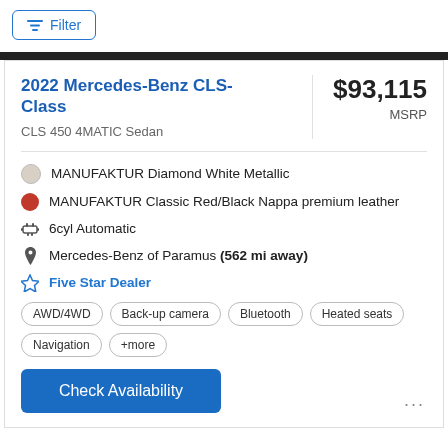Filter
2022 Mercedes-Benz CLS-Class
CLS 450 4MATIC Sedan
$93,115 MSRP
MANUFAKTUR Diamond White Metallic
MANUFAKTUR Classic Red/Black Nappa premium leather
6cyl Automatic
Mercedes-Benz of Paramus (562 mi away)
Five Star Dealer
AWD/4WD  Back-up camera  Bluetooth  Heated seats  Navigation  +more
Check Availability